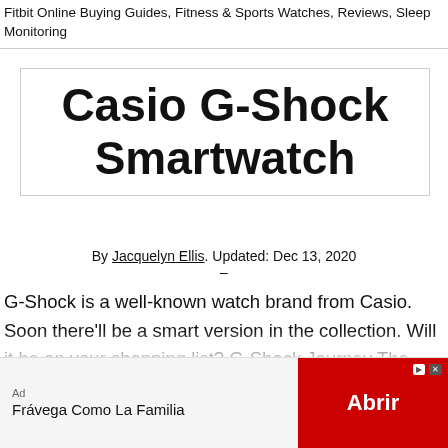Fitbit Online Buying Guides, Fitness & Sports Watches, Reviews, Sleep Monitoring
Casio G-Shock Smartwatch
By Jacquelyn Ellis. Updated: Dec 13, 2020 —
G-Shock is a well-known watch brand from Casio. Soon there'll be a smart version in the collection. Will it be on your shopping list? G-Shock Journey The current G-Shock series includes many models that certainly look great and have capabilities that work alongside your phone. You can keep in touch with what is happening
[Figure (other): Advertisement banner: Frávega Como La Familia with red Abrir button]